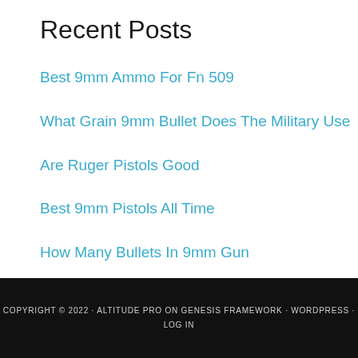Recent Posts
Best 9mm Ammo For Fn 509
What Grain 9mm Bullet Does The Military Use
Are Ruger Pistols Good
Best 9mm Pistols All Time
How Many Bullets In 9mm Gun
COPYRIGHT © 2022 · ALTITUDE PRO ON GENESIS FRAMEWORK · WORDPRESS · LOG IN